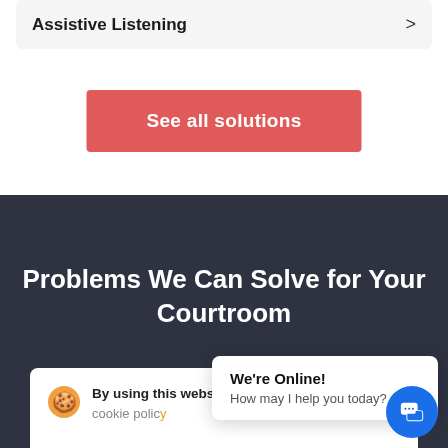Assistive Listening >
See all solutions
Problems We Can Solve for Your Courtroom
By using this website you agree to our cookie policy
We're Online! How may I help you today?